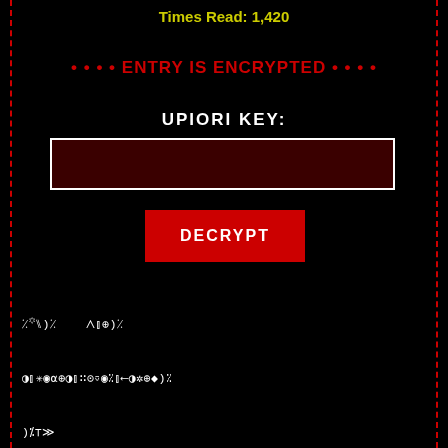Times Read: 1,420
• • • • ENTRY IS ENCRYPTED • • • •
UPIORI KEY:
[Figure (other): Dark red input field box for entering a decryption key]
DECRYPT
⁒ ◆⑊)⁒  ⋀⫿⊕)⁒
◑⫿✳◉⍺⊕◑⫿∷⊙⊽◉⁒⫿⟵◑✲⊕◆)⁒
)⁒⊤≫
◑⊁◉°◦⫿°◦)⁒◑°◦✲⑊⊽◑≫◑◑⁒⍺⑊
⌐°◦⊕≫)⁒⑊⑊⑊  ◑⊕°◦⊕⊕⫿◆⊕≫⋀
◉⑊  ✲)⁒  )⁒⊕⋀⊁⊕⫿⍺⊤≫⊕⊕∷◉
⊕≫◆⌐⊁⊕